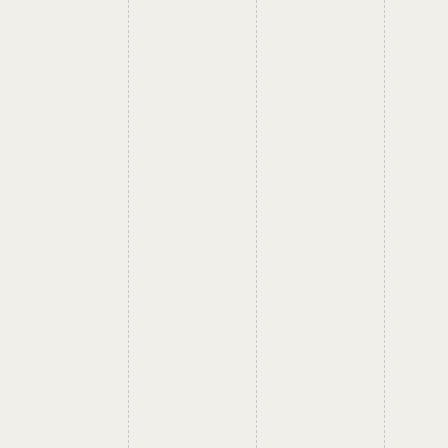the distance until the firing situation was over. In any event I think it's pretty inter